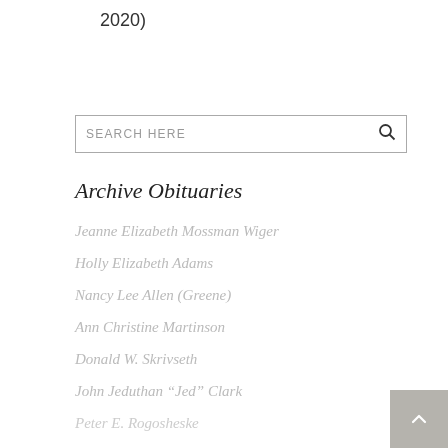2020)
SEARCH HERE
Archive Obituaries
Jeanne Elizabeth Mossman Wiger
Holly Elizabeth Adams
Nancy Lee Allen (Greene)
Ann Christine Martinson
Donald W. Skrivseth
John Jeduthan “Jed” Clark
Peter E. Rogosheske